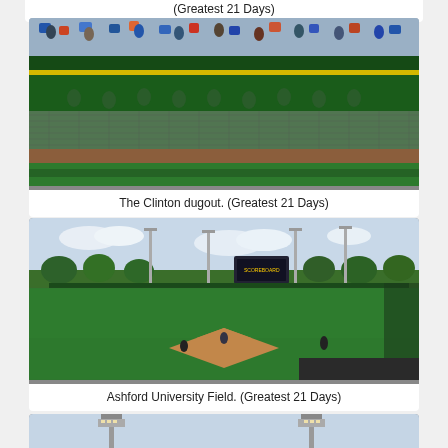(Greatest 21 Days)
[Figure (photo): The Clinton dugout showing players in green uniforms standing behind a chain-link fence with green walls and a yellow rail]
The Clinton dugout. (Greatest 21 Days)
[Figure (photo): Ashford University Field showing a baseball game in progress, with players on the field, light poles, scoreboards, and trees in the background]
Ashford University Field. (Greatest 21 Days)
[Figure (photo): Partial view of another baseball field photo, cropped at bottom of page]